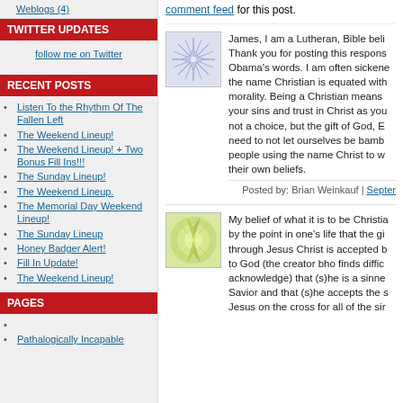Weblogs (4)
TWITTER UPDATES
follow me on Twitter
RECENT POSTS
Listen To the Rhythm Of The Fallen Left
The Weekend Lineup!
The Weekend Lineup! + Two Bonus Fill Ins!!!
The Sunday Lineup!
The Weekend Lineup.
The Memorial Day Weekend Lineup!
The Sunday Lineup
Honey Badger Alert!
Fill In Update!
The Weekend Lineup!
PAGES
Pathalogically Incapable
comment feed for this post.
[Figure (illustration): Blue geometric snowflake/star pattern avatar for comment by Brian Weinkauf]
James, I am a Lutheran, Bible beli Thank you for posting this respons Obama's words. I am often sickene the name Christian is equated with morality. Being a Christian means your sins and trust in Christ as you not a choice, but the gift of God, E need to not let ourselves be bamb people using the name Christ to w their own beliefs.
Posted by: Brian Weinkauf | Septer
[Figure (illustration): Green/yellow sunburst pattern avatar for second commenter]
My belief of what it is to be Christia by the point in one's life that the gi through Jesus Christ is accepted b to God (the creator bho finds diffic acknowledge) that (s)he is a sinne Savior and that (s)he accepts the s Jesus on the cross for all of the sir